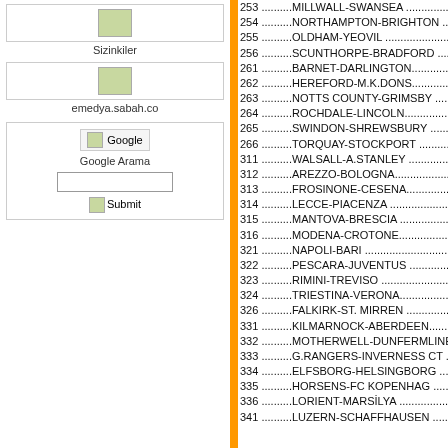[Figure (screenshot): Left sidebar with Sizinkiler box containing a green image placeholder, emedya.sabah.co image placeholder, Google search box, and Submit button]
253 ..........MILLWALL-SWANSEA ...........................1-0/
254 ..........NORTHAMPTON-BRIGHTON ......................0-0
255 ..........OLDHAM-YEOVIL ................................1-0/
256 ..........SCUNTHORPE-BRADFORD .......................0-0
261 ..........BARNET-DARLINGTON...........................1-1
262 ..........HEREFORD-M.K.DONS..........................0-0
263 ..........NOTTS COUNTY-GRIMSBY .....................0-0
264 ..........ROCHDALE-LINCOLN............................0-0
265 ..........SWINDON-SHREWSBURY ......................0-1
266 ..........TORQUAY-STOCKPORT .........................0-0
311 ..........WALSALL-A.STANLEY .........................1-1/
312 ..........AREZZO-BOLOGNA.............................1-1
313 ..........FROSINONE-CESENA..........................2-1
314 ..........LECCE-PIACENZA ............................1-0/
315 ..........MANTOVA-BRESCIA ..........................0-1/
316 ..........MODENA-CROTONE...........................1-1
321 ..........NAPOLI-BARI ................................0-1/
322 ..........PESCARA-JUVENTUS .........................0-0/
323 ..........RIMINI-TREVISO ............................1-0/
324 ..........TRIESTINA-VERONA..........................1-1
326 ..........FALKIRK-ST. MIRREN .......................2-0/
331 ..........KILMARNOCK-ABERDEEN......................0-0
332 ..........MOTHERWELL-DUNFERMLINE .................0-0
333 ..........G.RANGERS-INVERNESS CT .................1-
334 ..........ELFSBORG-HELSINGBORG ...................0-0
335 ..........HORSENS-FC KOPENHAG ...................1-
336 ..........LORIENT-MARSİLYA .......................0-0/
341 ..........LUZERN-SCHAFFHAUSEN ...................0-0